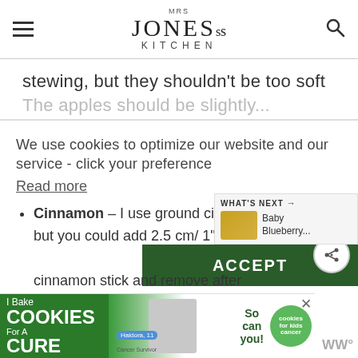MRS JONES's KITCHEN
stewing, but they shouldn't be too soft
We use cookies to optimize our website and our service - click your preference
Read more
ACCEPT
Cinnamon – I use ground cinnamon but you could add 2.5 cm/ 1" cinnamon stick and remove after
[Figure (screenshot): What's Next sidebar with Baby Blueberry... text and food thumbnail]
[Figure (screenshot): Ad banner: I Bake COOKIES For A CURE - Haldora, 11 Cancer Survivor - So can you! - cookies for kids cancer - WW logo]